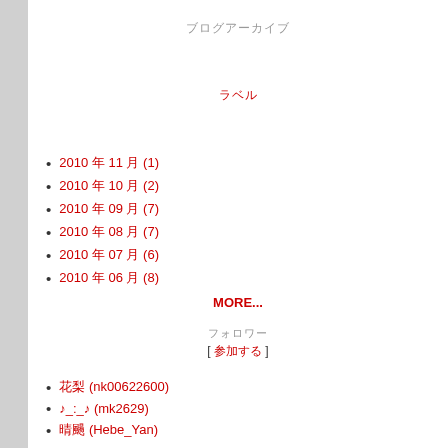ブログアーカイブ
ラベル
2010 年 11 月 (1)
2010 年 10 月 (2)
2010 年 09 月 (7)
2010 年 08 月 (7)
2010 年 07 月 (6)
2010 年 06 月 (8)
MORE...
フォロワー
[ 参加する ]
花梨 (nk00622600)
♪_:_♪ (mk2629)
晴颺 (Hebe_Yan)